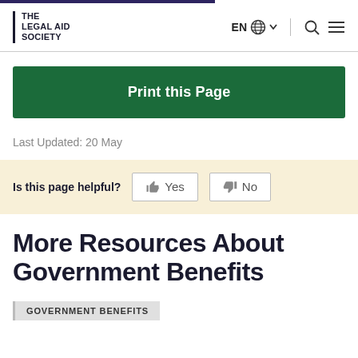THE LEGAL AID SOCIETY
Print this Page
Last Updated: 20 May
Is this page helpful? Yes No
More Resources About Government Benefits
GOVERNMENT BENEFITS